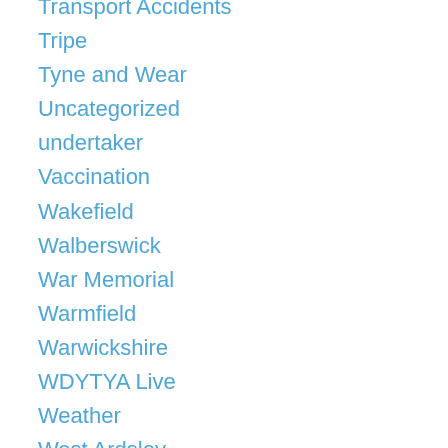Transport Accidents
Tripe
Tyne and Wear
Uncategorized
undertaker
Vaccination
Wakefield
Walberswick
War Memorial
Warmfield
Warwickshire
WDYTYA Live
Weather
West Ardsley
Wheelwright
Whitby
White Lee
Whitkirk
Who Do You Think You Are? Magazine
Wills